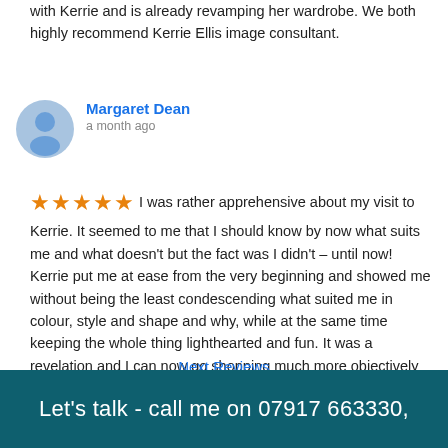with Kerrie and is already revamping her wardrobe. We both highly recommend Kerrie Ellis image consultant.
Margaret Dean
a month ago
★★★★★ I was rather apprehensive about my visit to Kerrie. It seemed to me that I should know by now what suits me and what doesn't but the fact was I didn't – until now! Kerrie put me at ease from the very beginning and showed me without being the least condescending what suited me in colour, style and shape and why, while at the same time keeping the whole thing lighthearted and fun. It was a revelation and I can now go shopping much more objectively knowing that my purchases will not end up in the charity bag as usual. Thank you Kerrie!
Next Reviews
Let's talk - call me on 07917 663330,